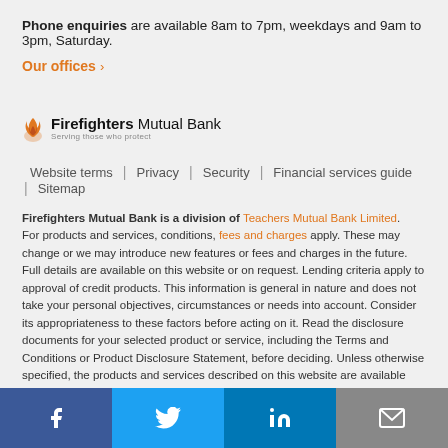Phone enquiries are available 8am to 7pm, weekdays and 9am to 3pm, Saturday.
Our offices ›
[Figure (logo): Firefighters Mutual Bank logo with flame icon and tagline 'Serving those who protect']
Website terms | Privacy | Security | Financial services guide | Sitemap
Firefighters Mutual Bank is a division of Teachers Mutual Bank Limited. For products and services, conditions, fees and charges apply. These may change or we may introduce new features or fees and charges in the future. Full details are available on this website or on request. Lending criteria apply to approval of credit products. This information is general in nature and does not take your personal objectives, circumstances or needs into account. Consider its appropriateness to these factors before acting on it. Read the disclosure documents for your selected product or service, including the Terms and Conditions or Product Disclosure Statement, before deciding. Unless otherwise specified, the products and services described on this website are available only in Australia from or through Teachers Mutual Bank Limited ABN 30 087 650 459 AFSL and Australian Credit Licence 238981.
Teachers Mutual Bank Limited acknowledges the Traditional Custodians of Country
[Figure (infographic): Social media sharing bar with Facebook, Twitter, LinkedIn, and email buttons]